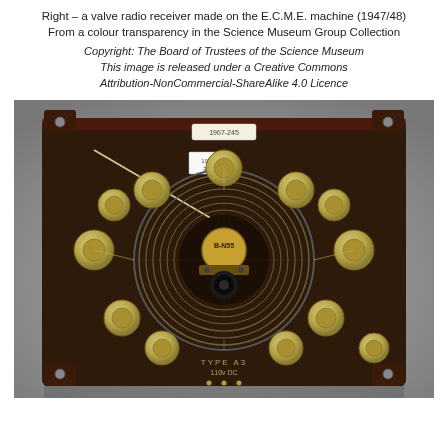Right – a valve radio receiver made on the E.C.M.E. machine (1947/48)
From a colour transparency in the Science Museum Group Collection
Copyright: The Board of Trustees of the Science Museum
This image is released under a Creative Commons
Attribution-NonCommercial-ShareAlike 4.0 Licence
[Figure (photo): A valve radio receiver made on the E.C.M.E. machine (1947/48). The device is a roughly square dark brown/bakelite circuit board with multiple yellow/cream circular components arranged in a ring pattern around a central coil/toroidal element. A small label reads '1967-245'. The board has mounting tabs at the corners and text reading 'TYPE A3' and '110v' at the bottom. The component at center is labeled 'B-N55'. Photographed against a grey gradient background.]